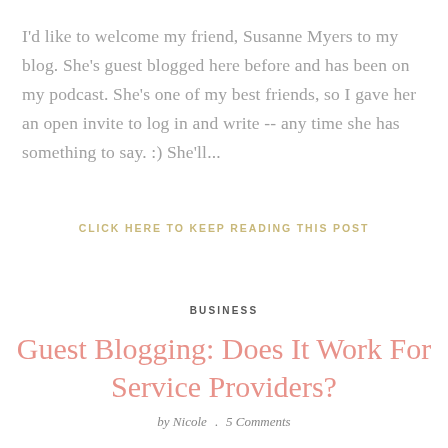I'd like to welcome my friend, Susanne Myers to my blog. She's guest blogged here before and has been on my podcast. She's one of my best friends, so I gave her an open invite to log in and write -- any time she has something to say. :) She'll...
CLICK HERE TO KEEP READING THIS POST
BUSINESS
Guest Blogging: Does It Work For Service Providers?
by Nicole . 5 Comments